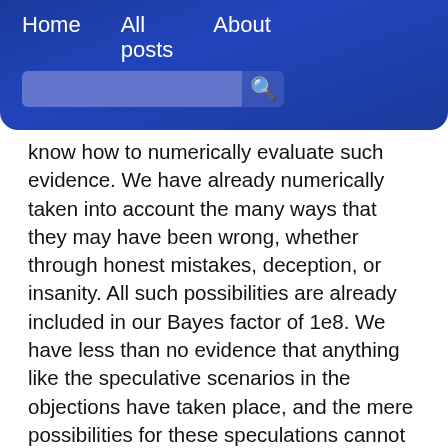Home   All posts   About
know how to numerically evaluate such evidence. We have already numerically taken into account the many ways that they may have been wrong, whether through honest mistakes, deception, or insanity. All such possibilities are already included in our Bayes factor of 1e8. We have less than no evidence that anything like the speculative scenarios in the objections have taken place, and the mere possibilities for these speculations cannot change the empirically derived probabilities. Therefore the odds for the resurrection remains undiminished by the objections: Jesus almost certainly rose from the dead.
The lack of evidence against the resurrection